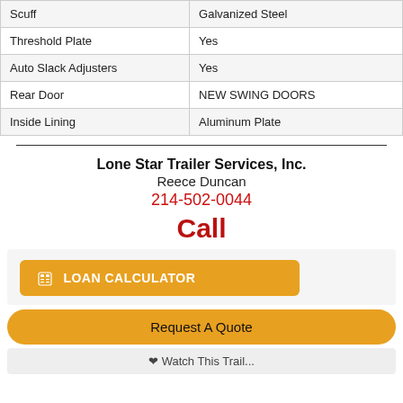| Feature | Value |
| --- | --- |
| Scuff | Galvanized Steel |
| Threshold Plate | Yes |
| Auto Slack Adjusters | Yes |
| Rear Door | NEW SWING DOORS |
| Inside Lining | Aluminum Plate |
Lone Star Trailer Services, Inc.
Reece Duncan
214-502-0044
Call
LOAN CALCULATOR
Request A Quote
Watch This Trail...